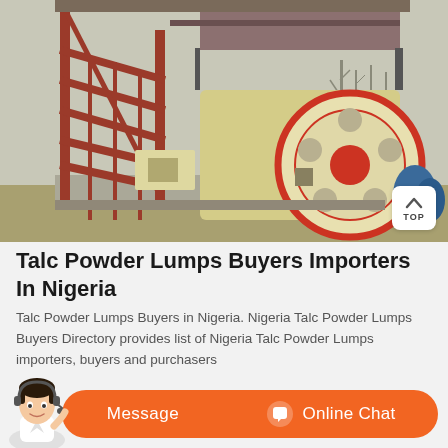[Figure (photo): Industrial jaw crusher machine with red metal staircase/scaffolding structure, large cream-colored flywheel with red accents, photographed outdoors in a barren setting with bare trees in background.]
Talc Powder Lumps Buyers Importers In Nigeria
Talc Powder Lumps Buyers in Nigeria. Nigeria Talc Powder Lumps Buyers Directory provides list of Nigeria Talc Powder Lumps importers, buyers and purchasers